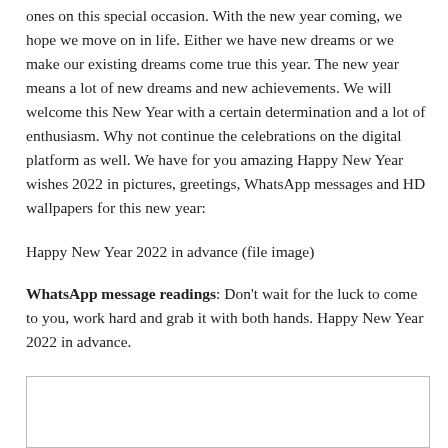ones on this special occasion. With the new year coming, we hope we move on in life. Either we have new dreams or we make our existing dreams come true this year. The new year means a lot of new dreams and new achievements. We will welcome this New Year with a certain determination and a lot of enthusiasm. Why not continue the celebrations on the digital platform as well. We have for you amazing Happy New Year wishes 2022 in pictures, greetings, WhatsApp messages and HD wallpapers for this new year:
Happy New Year 2022 in advance (file image)
WhatsApp message readings: Don't wait for the luck to come to you, work hard and grab it with both hands. Happy New Year 2022 in advance.
[Figure (photo): Empty image placeholder box with a light gray border]